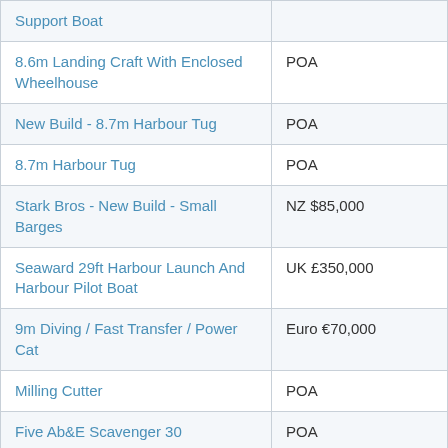| Item | Price |
| --- | --- |
| Support Boat |  |
| 8.6m Landing Craft With Enclosed Wheelhouse | POA |
| New Build - 8.7m Harbour Tug | POA |
| 8.7m Harbour Tug | POA |
| Stark Bros - New Build - Small Barges | NZ $85,000 |
| Seaward 29ft Harbour Launch And Harbour Pilot Boat | UK £350,000 |
| 9m Diving / Fast Transfer / Power Cat | Euro €70,000 |
| Milling Cutter | POA |
| Five Ab&E Scavenger 30 | POA |